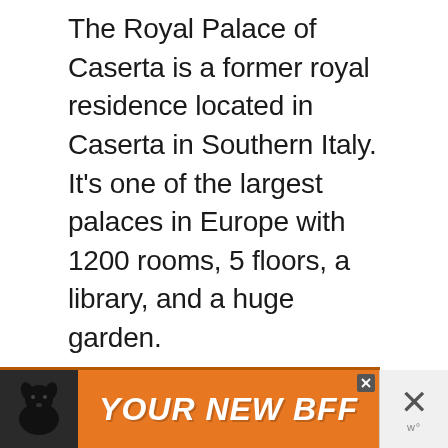The Royal Palace of Caserta is a former royal residence located in Caserta in Southern Italy. It's one of the largest palaces in Europe with 1200 rooms, 5 floors, a library, and a huge garden.
One may find a resemblance between the Royal Palace of Caserta and the Palace of Versailles outside of Paris and it's because the Palace of Caserta is modelled after the Palace of Versailles!
It is surprising that the Royal Palace of Caserta is an off the beaten path
[Figure (other): Advertisement banner: orange background with a dog silhouette on left and bold italic text reading YOUR NEW BFF. A small close button (x) is visible at the top right of the orange section. On the far right is a larger X close button with a W logo below it.]